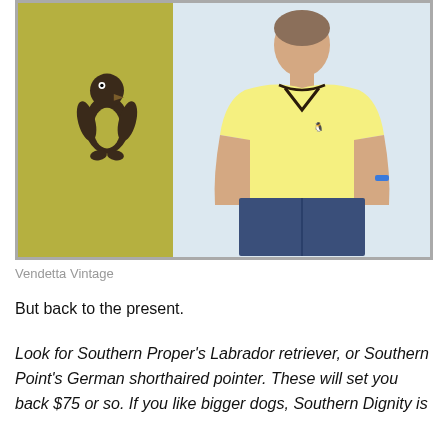[Figure (photo): A composite image: on the left, a close-up of an olive/yellow fabric showing the Original Penguin logo (penguin icon); on the right, a male model wearing a yellow polo shirt with dark collar trim, blue jeans, and a blue wristband, against a light background. The image has a gray border.]
Vendetta Vintage
But back to the present.
Look for Southern Proper’s Labrador retriever, or Southern Point’s German shorthaired pointer. These will set you back $75 or so. If you like bigger dogs, Southern Dignity is